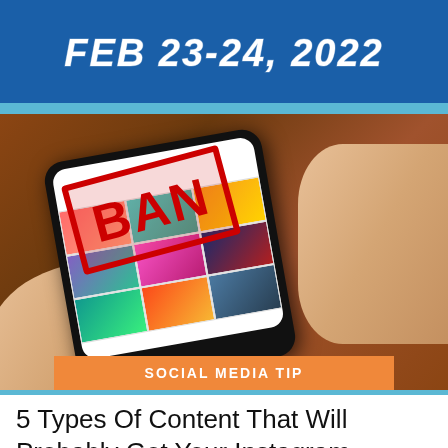FEB 23-24, 2022
[Figure (photo): Person holding a smartphone showing an Instagram grid feed with a red BANNED stamp overlaid on the screen]
SOCIAL MEDIA TIP
5 Types Of Content That Will Probably Get Your Instagram